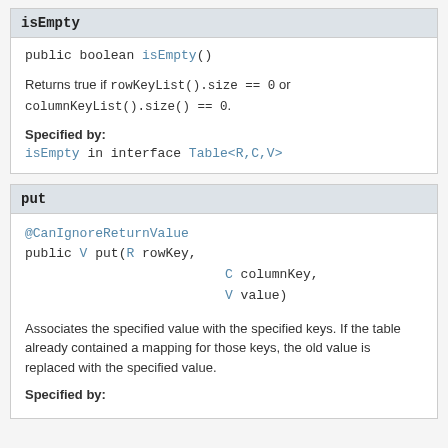isEmpty
public boolean isEmpty()
Returns true if rowKeyList().size == 0 or columnKeyList().size() == 0.
Specified by:
isEmpty in interface Table<R,C,V>
put
@CanIgnoreReturnValue
public V put(R rowKey,
             C columnKey,
             V value)
Associates the specified value with the specified keys. If the table already contained a mapping for those keys, the old value is replaced with the specified value.
Specified by: